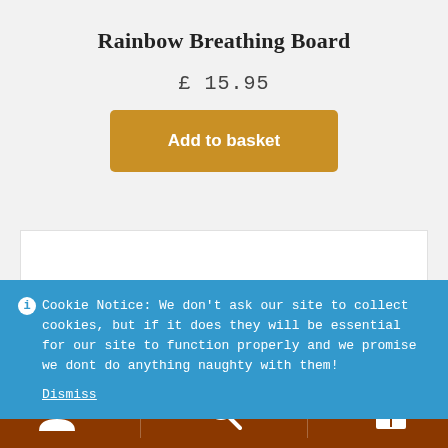Rainbow Breathing Board
£ 15.95
Add to basket
[Figure (photo): Dark cylindrical product on white background]
Cookie Notice: We don't ask our site to collect cookies, but if it does they will be essential for our site to function properly and we promise we dont do anything naughty with them!
Dismiss
[Figure (infographic): Bottom navigation bar with person icon, search icon, and basket icon with badge showing 0]